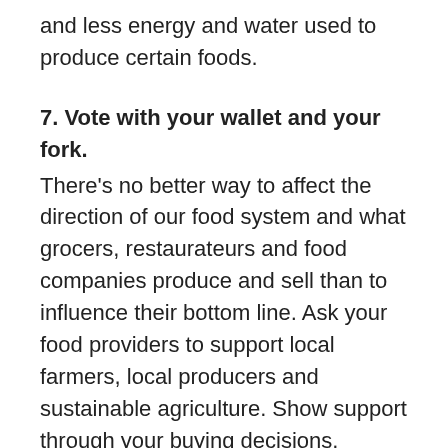and less energy and water used to produce certain foods.
7. Vote with your wallet and your fork.
There's no better way to affect the direction of our food system and what grocers, restaurateurs and food companies produce and sell than to influence their bottom line. Ask your food providers to support local farmers, local producers and sustainable agriculture. Show support through your buying decisions.
(source: https://www.eatright.org/health/lifestyle/culture-and-traditions/sustainable-eating)